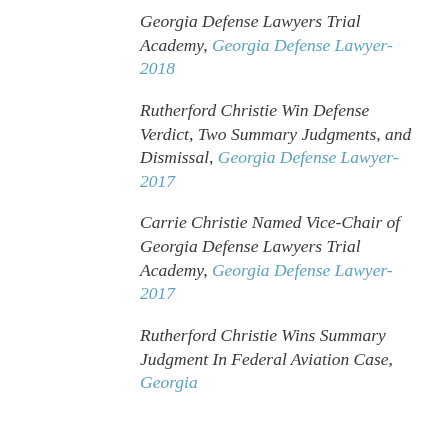Georgia Defense Lawyers Trial Academy, Georgia Defense Lawyer-2018
Rutherford Christie Win Defense Verdict, Two Summary Judgments, and Dismissal, Georgia Defense Lawyer-2017
Carrie Christie Named Vice-Chair of Georgia Defense Lawyers Trial Academy, Georgia Defense Lawyer-2017
Rutherford Christie Wins Summary Judgment In Federal Aviation Case, Georgia